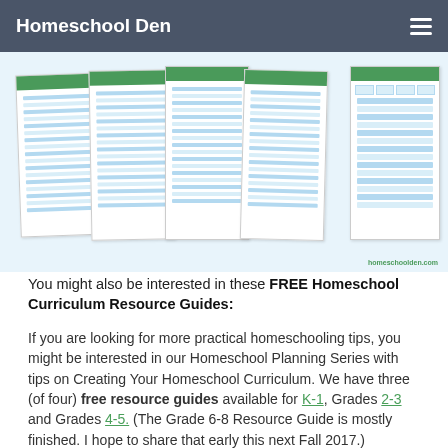Homeschool Den
[Figure (illustration): A collage of multiple homeschool planning worksheet pages fanned out, showing blue-lined planning templates with columns and rows. The watermark 'homeschoolden.com' appears in the bottom right.]
You might also be interested in these FREE Homeschool Curriculum Resource Guides:
If you are looking for more practical homeschooling tips, you might be interested in our Homeschool Planning Series with tips on Creating Your Homeschool Curriculum. We have three (of four) free resource guides available for K-1, Grades 2-3 and Grades 4-5. (The Grade 6-8 Resource Guide is mostly finished. I hope to share that early this next Fall 2017.)